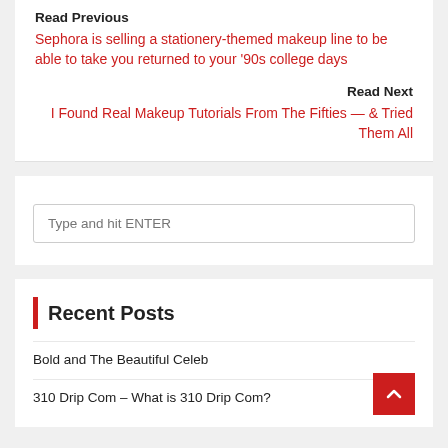Read Previous
Sephora is selling a stationery-themed makeup line to be able to take you returned to your '90s college days
Read Next
I Found Real Makeup Tutorials From The Fifties — & Tried Them All
Type and hit ENTER
Recent Posts
Bold and The Beautiful Celeb
310 Drip Com – What is 310 Drip Com?